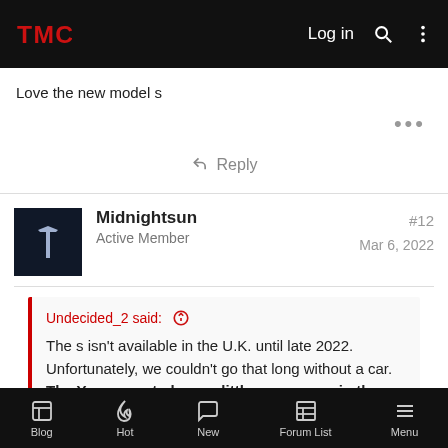TMC forum header with Log in, search, and menu options
Love the new model s
Reply
Midnightsun
Active Member
#12
Mar 6, 2022
Undecided_2 said: The s isn't available in the U.K. until late 2022. Unfortunately, we couldn't go that long without a car. The Y appears to have a little more room in the boot/trunk than the S.
Blog | Hot | New | Forum List | Menu